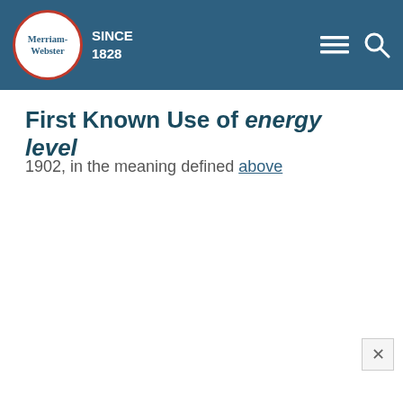Merriam-Webster SINCE 1828
First Known Use of energy level
1902, in the meaning defined above